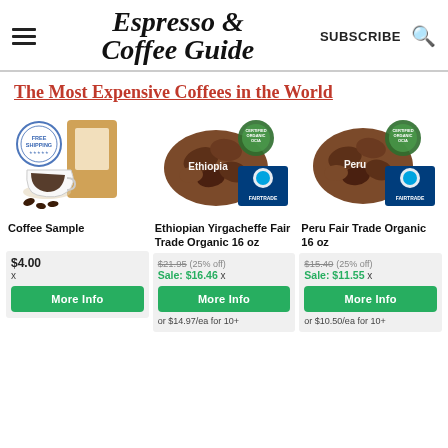Espresso & Coffee Guide | SUBSCRIBE
The Most Expensive Coffees in the World
[Figure (photo): Coffee sample product image showing coffee cup, coffee beans, kraft bag, and Free Shipping stamp]
Coffee Sample
| Price | Action | Bulk |
| --- | --- | --- |
| $4.00 x | More Info |  |
[Figure (photo): Ethiopian Yirgacheffe coffee beans with Certified Organic OCIA and Fairtrade logos]
Ethiopian Yirgacheffe Fair Trade Organic 16 oz
| Price | Action | Bulk |
| --- | --- | --- |
| $21.95 (25% off) Sale: $16.46 x | More Info | or $14.97/ea for 10+ |
[Figure (photo): Peru coffee beans with Certified Organic OCIA and Fairtrade logos]
Peru Fair Trade Organic 16 oz
| Price | Action | Bulk |
| --- | --- | --- |
| $15.40 (25% off) Sale: $11.55 x | More Info | or $10.50/ea for 10+ |